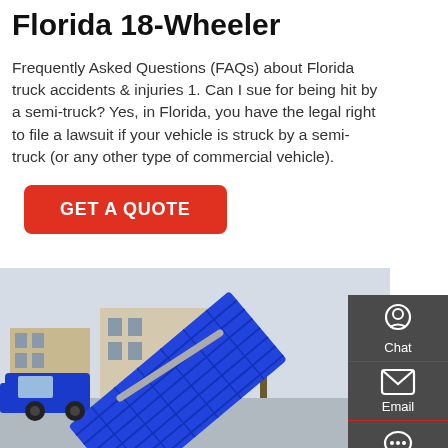Florida 18-Wheeler
Frequently Asked Questions (FAQs) about Florida truck accidents & injuries 1. Can I sue for being hit by a semi-truck? Yes, in Florida, you have the legal right to file a lawsuit if your vehicle is struck by a semi-truck (or any other type of commercial vehicle).
GET A QUOTE
[Figure (photo): A blue dump truck with its bed raised at an angle on a city street, with buildings and trees visible in the background.]